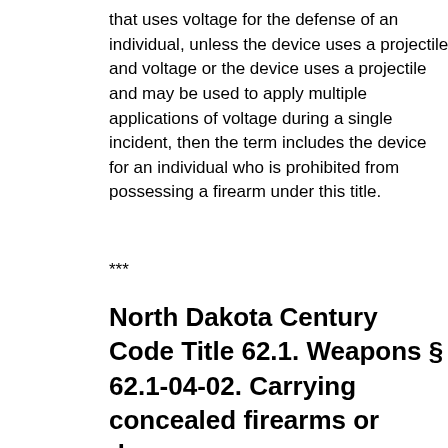that uses voltage for the defense of an individual, unless the device uses a projectile and voltage or the device uses a projectile and may be used to apply multiple applications of voltage during a single incident, then the term includes the device for an individual who is prohibited from possessing a firearm under this title.
***
North Dakota Century Code Title 62.1. Weapons § 62.1-04-02. Carrying concealed firearms or dangerous weapons